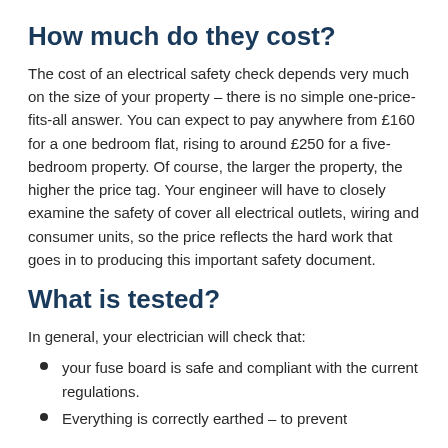How much do they cost?
The cost of an electrical safety check depends very much on the size of your property – there is no simple one-price-fits-all answer. You can expect to pay anywhere from £160 for a one bedroom flat, rising to around £250 for a five-bedroom property. Of course, the larger the property, the higher the price tag. Your engineer will have to closely examine the safety of cover all electrical outlets, wiring and consumer units, so the price reflects the hard work that goes in to producing this important safety document.
What is tested?
In general, your electrician will check that:
your fuse board is safe and compliant with the current regulations.
Everything is correctly earthed – to prevent